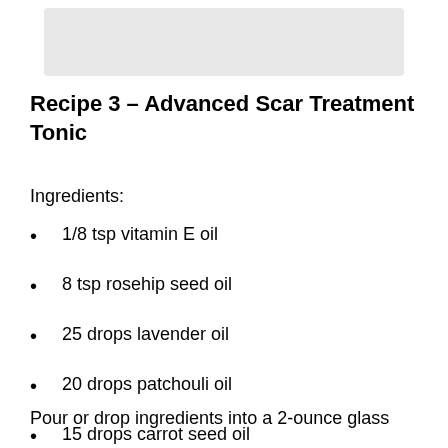[Figure (other): Gray rectangle placeholder image at top of page]
Recipe 3 – Advanced Scar Treatment Tonic
Ingredients:
1/8 tsp vitamin E oil
8 tsp rosehip seed oil
25 drops lavender oil
20 drops patchouli oil
15 drops carrot seed oil
Pour or drop ingredients into a 2-ounce glass